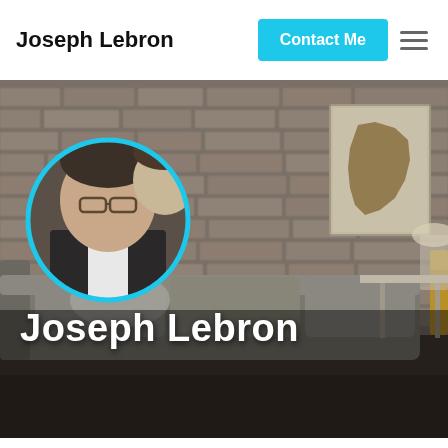Joseph Lebron
Contact Me
[Figure (photo): Hero section showing a room interior with exposed brick wall, a gray sofa, yellow armchair, desk with items, and a map of Africa hanging on the wall. A circular profile photo with cyan border shows a man with glasses and a young boy.]
Joseph Lebron